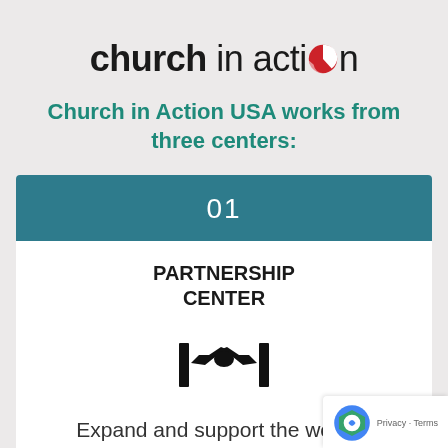[Figure (logo): Church in Action logo with red and white circular swoosh icon replacing the 'o' in 'action']
Church in Action USA works from three centers:
01
PARTNERSHIP CENTER
[Figure (illustration): Handshake icon with hands gripping, flanked by vertical bars on each side]
Expand and support the work in Germany